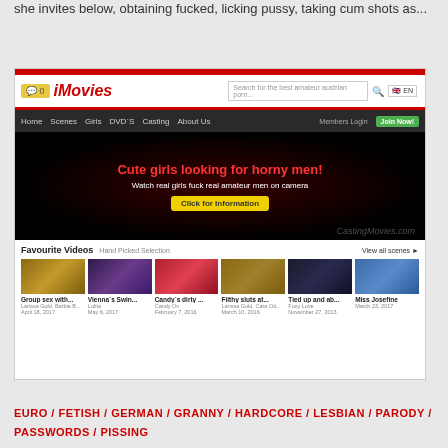she invites below, obtaining fucked, licking pussy, taking cum shots as...
[Figure (screenshot): Screenshot of an adult entertainment website called 'Movies' showing navigation bar with Home, Scenes, Girls, DVD'S, Casting, About Us links, a hero banner with text 'Cute girls looking for horny men!', a favourites video grid section, and website UI elements.]
EURO / FETISH / GERMAN / GRANNY / HARDCORE / LESBIAN / PARODY / PASSWORDS / PISSING